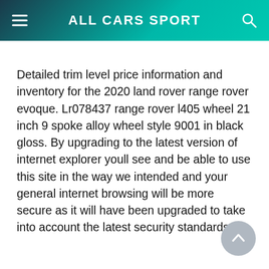ALL CARS SPORT
Detailed trim level price information and inventory for the 2020 land rover range rover evoque. Lr078437 range rover l405 wheel 21 inch 9 spoke alloy wheel style 9001 in black gloss. By upgrading to the latest version of internet explorer youll see and be able to use this site in the way we intended and your general internet browsing will be more secure as it will have been upgraded to take into account the latest security standards.